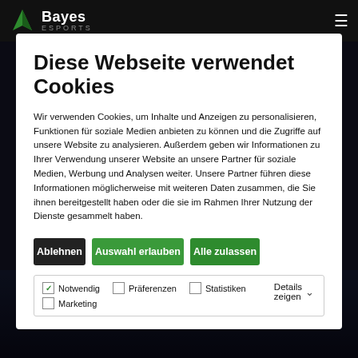Bayes Esports
Diese Webseite verwendet Cookies
Wir verwenden Cookies, um Inhalte und Anzeigen zu personalisieren, Funktionen für soziale Medien anbieten zu können und die Zugriffe auf unsere Website zu analysieren. Außerdem geben wir Informationen zu Ihrer Verwendung unserer Website an unsere Partner für soziale Medien, Werbung und Analysen weiter. Unsere Partner führen diese Informationen möglicherweise mit weiteren Daten zusammen, die Sie ihnen bereitgestellt haben oder die sie im Rahmen Ihrer Nutzung der Dienste gesammelt haben.
Ablehnen
Auswahl erlauben
Alle zulassen
Notwendig  Präferenzen  Statistiken  Marketing  Details zeigen